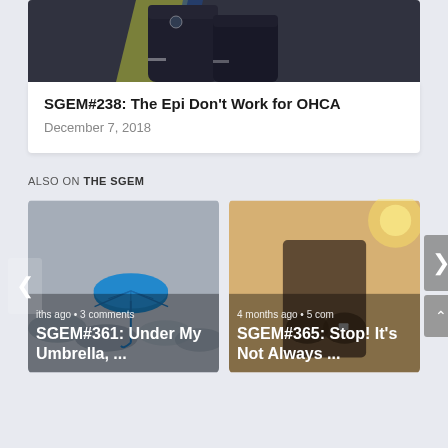[Figure (photo): Two EMT/paramedic personnel in dark uniforms standing together, partial view cropped at top of card]
SGEM#238: The Epi Don't Work for OHCA
December 7, 2018
ALSO ON THE SGEM
[Figure (photo): Photo of blue umbrella standing out in a foggy crowd of umbrellas; card thumbnail for SGEM#361]
iths ago • 3 comments
SGEM#361: Under My Umbrella, ...
[Figure (photo): Photo of person holding knees outdoors in sunlight; card thumbnail for SGEM#365]
4 months ago • 5 com
SGEM#365: Stop! It's Not Always ...